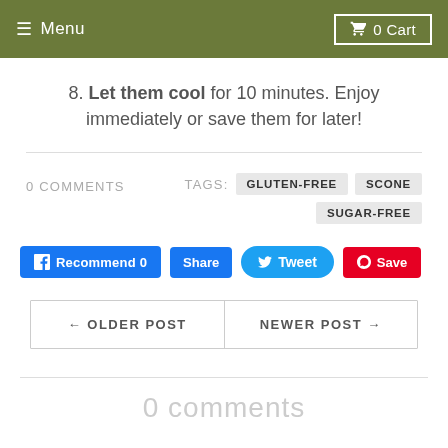≡ Menu   🛒 0 Cart
8. Let them cool for 10 minutes. Enjoy immediately or save them for later!
0 COMMENTS   TAGS: GLUTEN-FREE   SCONE   SUGAR-FREE
Recommend 0   Share   Tweet   Save
← OLDER POST   NEWER POST →
0 comments